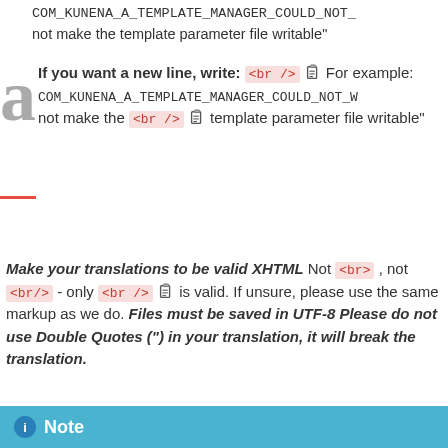COM_KUNENA_A_TEMPLATE_MANAGER_COULD_NOT_... not make the template parameter file writable"
If you want a new line, write: <br /> [icon] For example: COM_KUNENA_A_TEMPLATE_MANAGER_COULD_NOT_W... not make the <br /> [icon] template parameter file writable"
Make your translations to be valid XHTML Not <br>, not <br/> - only <br /> [icon] is valid. If unsure, please use the same markup as we do. Files must be saved in UTF-8 Please do not use Double Quotes (") in your translation, it will break the translation.
Note